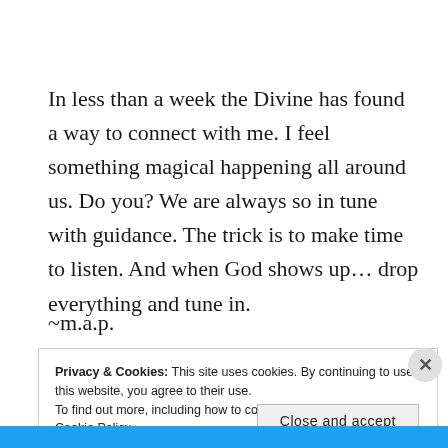In less than a week the Divine has found a way to connect with me. I feel something magical happening all around us. Do you? We are always so in tune with guidance. The trick is to make time to listen. And when God shows up… drop everything and tune in.
~m.a.p.
Privacy & Cookies: This site uses cookies. By continuing to use this website, you agree to their use.
To find out more, including how to control cookies, see here: Cookie Policy
Close and accept